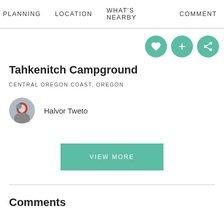PLANNING   LOCATION   WHAT'S NEARBY   COMMENT
Tahkenitch Campground
CENTRAL OREGON COAST, OREGON
Halvor Tweto
VIEW MORE
Comments